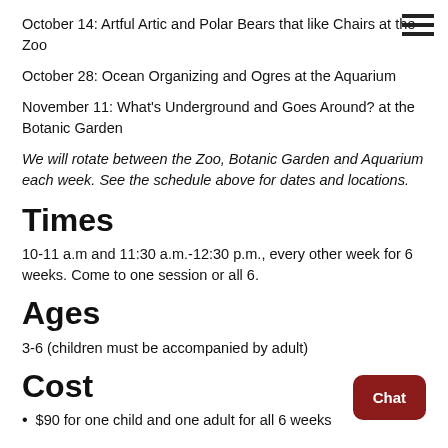October 14: Artful Artic and Polar Bears that like Chairs at the Zoo
October 28: Ocean Organizing and Ogres at the Aquarium
November 11: What's Underground and Goes Around? at the Botanic Garden
We will rotate between the Zoo, Botanic Garden and Aquarium each week. See the schedule above for dates and locations.
Times
10-11 a.m and 11:30 a.m.-12:30 p.m., every other week for 6 weeks. Come to one session or all 6.
Ages
3-6 (children must be accompanied by adult)
Cost
$90 for one child and one adult for all 6 weeks